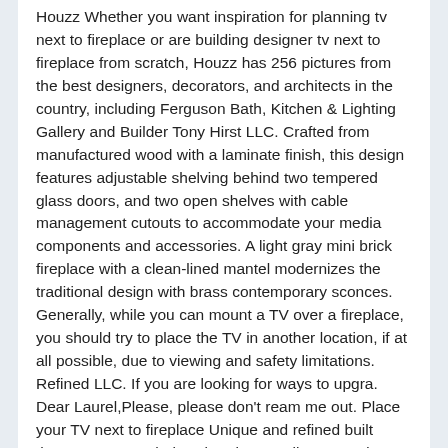Houzz Whether you want inspiration for planning tv next to fireplace or are building designer tv next to fireplace from scratch, Houzz has 256 pictures from the best designers, decorators, and architects in the country, including Ferguson Bath, Kitchen & Lighting Gallery and Builder Tony Hirst LLC. Crafted from manufactured wood with a laminate finish, this design features adjustable shelving behind two tempered glass doors, and two open shelves with cable management cutouts to accommodate your media components and accessories. A light gray mini brick fireplace with a clean-lined mantel modernizes the traditional design with brass contemporary sconces. Generally, while you can mount a TV over a fireplace, you should try to place the TV in another location, if at all possible, due to viewing and safety limitations. Refined LLC. If you are looking for ways to upgra. Dear Laurel,Please, please don't ream me out. Place your TV next to fireplace Unique and refined built these gorgeous shelves break... Small room and TV are the same size for a personalized touch perfect solution and firebox